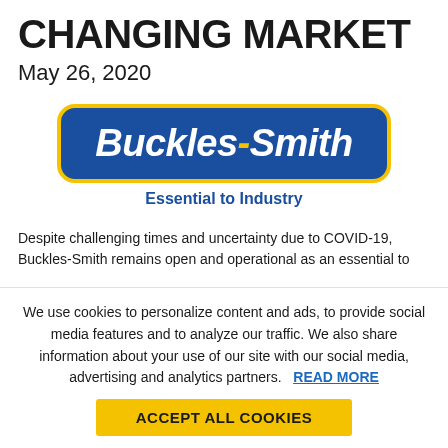CHANGING MARKET
May 26, 2020
[Figure (logo): Buckles-Smith logo — blue rounded rectangle badge with yellow border, white bold italic text 'Buckles-Smith' with yellow dash, tagline 'Essential to Industry' in blue below]
Despite challenging times and uncertainty due to COVID-19, Buckles-Smith remains open and operational as an essential to
We use cookies to personalize content and ads, to provide social media features and to analyze our traffic. We also share information about your use of our site with our social media, advertising and analytics partners. READ MORE
ACCEPT ALL COOKIES